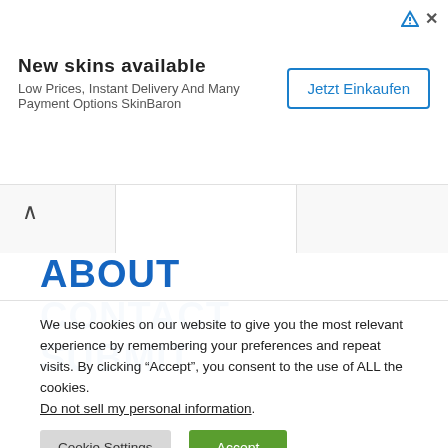[Figure (screenshot): Advertisement banner for SkinBaron with title 'New skins available', subtitle 'Low Prices, Instant Delivery And Many Payment Options SkinBaron', and a button 'Jetzt Einkaufen']
ABOUT
CONTACT
SUBMIT
We use cookies on our website to give you the most relevant experience by remembering your preferences and repeat visits. By clicking “Accept”, you consent to the use of ALL the cookies. Do not sell my personal information.